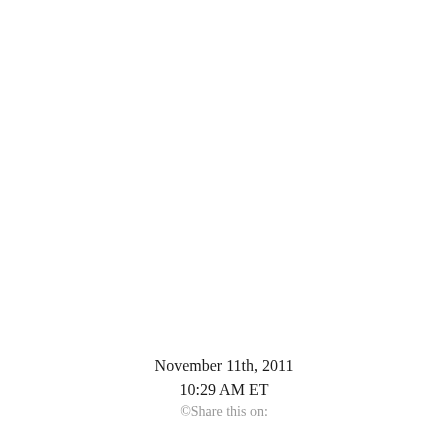November 11th, 2011
10:29 AM ET
©Share this on: